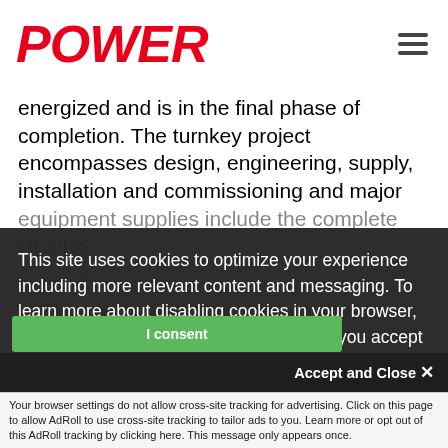POWER
energized and is in the final phase of completion. The turnkey project encompasses design, engineering, supply, installation and commissioning and major equipment supplies include the complete UHVDC valves and protection
This site uses cookies to optimize your experience including more relevant content and messaging. To learn more about disabling cookies in your browser, click here. By continuing to use this site, you accept our use of cookies. For more information, view our updated Privacy Policy.
UHVDC transmission is well-established HVDC a technology that was commissioned over 100 years ago. For these projects, an installed capacity of more than half be total installed force.
Accept and Close ×
Your browser settings do not allow cross-site tracking for advertising. Click on this page to allow AdRoll to use cross-site tracking to tailor ads to you. Learn more or opt out of this AdRoll tracking by clicking here. This message only appears once.